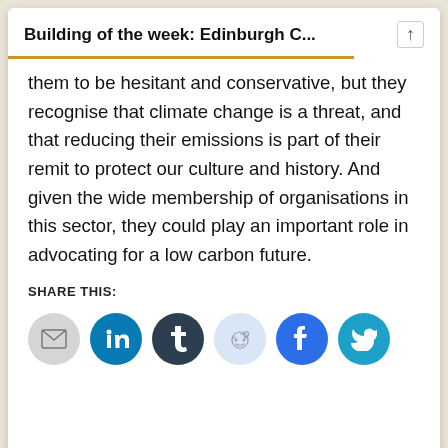Building of the week: Edinburgh C...
them to be hesitant and conservative, but they recognise that climate change is a threat, and that reducing their emissions is part of their remit to protect our culture and history. And given the wide membership of organisations in this sector, they could play an important role in advocating for a low carbon future.
SHARE THIS:
[Figure (other): Social share buttons: email (grey), LinkedIn (blue), Tumblr (dark), Reddit (light blue), Facebook (blue), Twitter (cyan)]